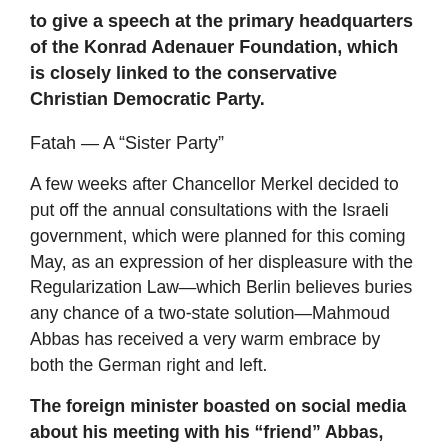to give a speech at the primary headquarters of the Konrad Adenauer Foundation, which is closely linked to the conservative Christian Democratic Party.
Fatah — A “Sister Party”
A few weeks after Chancellor Merkel decided to put off the annual consultations with the Israeli government, which were planned for this coming May, as an expression of her displeasure with the Regularization Law—which Berlin believes buries any chance of a two-state solution—Mahmoud Abbas has received a very warm embrace by both the German right and left.
The foreign minister boasted on social media about his meeting with his “friend” Abbas, and was quick to note that Germany adheres to the two-state solution. Gabriel’s party, the Social Democrats, which has a good chance of forming a left-wing government after the